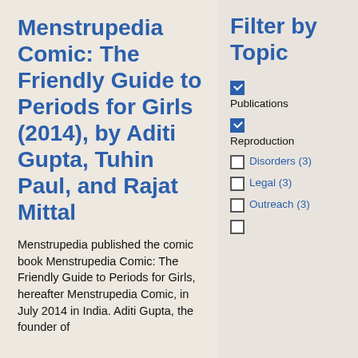Menstrupedia Comic: The Friendly Guide to Periods for Girls (2014), by Aditi Gupta, Tuhin Paul, and Rajat Mittal
Menstrupedia published the comic book Menstrupedia Comic: The Friendly Guide to Periods for Girls, hereafter Menstrupedia Comic, in July 2014 in India. Aditi Gupta, the founder of
Filter by Topic
Publications (checked)
Reproduction (checked)
Disorders (3)
Legal (3)
Outreach (3)